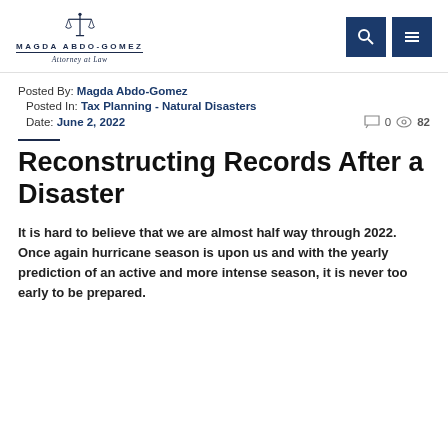MAGDA ABDO-GOMEZ Attorney at Law
Posted By: Magda Abdo-Gomez
Posted In: Tax Planning - Natural Disasters
Date: June 2, 2022   0   82
Reconstructing Records After a Disaster
It is hard to believe that we are almost half way through 2022. Once again hurricane season is upon us and with the yearly prediction of an active and more intense season, it is never too early to be prepared.